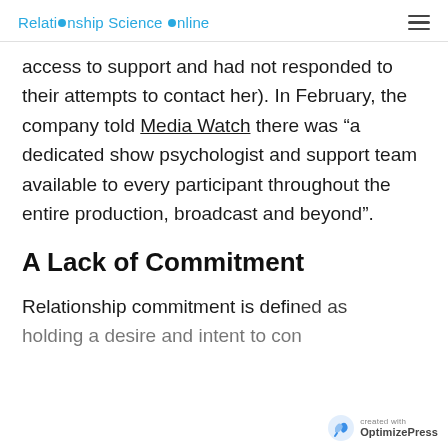Relationship Science Online
access to support and had not responded to their attempts to contact her). In February, the company told Media Watch there was “a dedicated show psychologist and support team available to every participant throughout the entire production, broadcast and beyond”.
A Lack of Commitment
Relationship commitment is defined as holding a desire and intent to con...